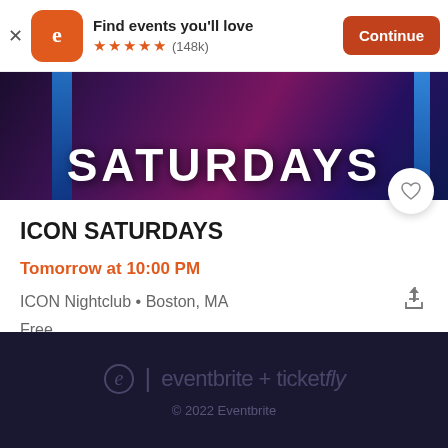[Figure (screenshot): Eventbrite app install banner with orange logo, star rating (148k reviews), and Continue button]
[Figure (photo): Dark purple/blue event banner with text SATURDAYS in large white letters]
ICON SATURDAYS
Tomorrow at 10:00 PM
ICON Nightclub • Boston, MA
Free
eventbrite + ticketfly
© 2022 Eventbrite